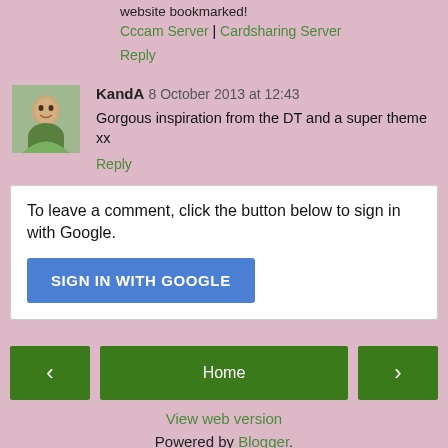website bookmarked!
Cccam Server | Cardsharing Server
Reply
KandA  8 October 2013 at 12:43
Gorgous inspiration from the DT and a super theme xx
Reply
To leave a comment, click the button below to sign in with Google.
SIGN IN WITH GOOGLE
Home
View web version
Powered by Blogger.